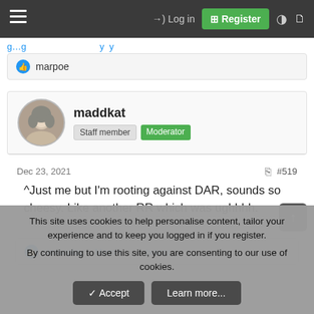Log in | Register
marpoe
maddkat — Staff member | Moderator
Dec 23, 2021  #519
^Just me but I'm rooting against DAR, sounds so cheesy. Like another RR which was ughhhh.
simonplay, Momin and txacar
This site uses cookies to help personalise content, tailor your experience and to keep you logged in if you register.
By continuing to use this site, you are consenting to our use of cookies.
Accept | Learn more...